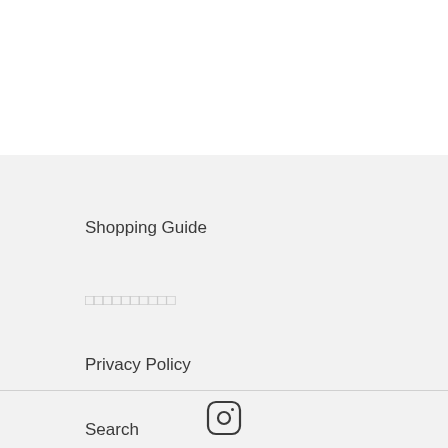Shopping Guide
□□□□□□□□□□
Privacy Policy
Search
[Figure (logo): Instagram icon — rounded square with camera outline in dark gray]